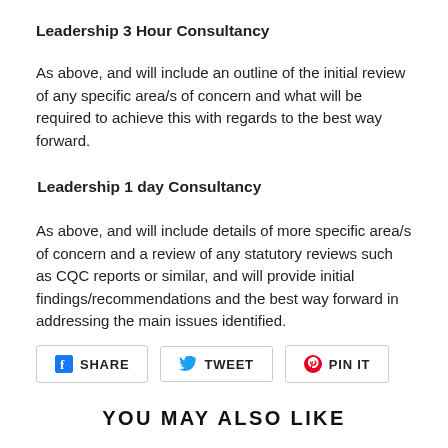Leadership 3 Hour Consultancy
As above, and will include an outline of the initial review of any specific area/s of concern and what will be required to achieve this with regards to the best way forward.
Leadership 1 day Consultancy
As above, and will include details of more specific area/s of concern and a review of any statutory reviews such as CQC reports or similar, and will provide initial findings/recommendations and the best way forward in addressing the main issues identified.
[Figure (infographic): Social share buttons: SHARE (Facebook), TWEET (Twitter), PIN IT (Pinterest)]
YOU MAY ALSO LIKE